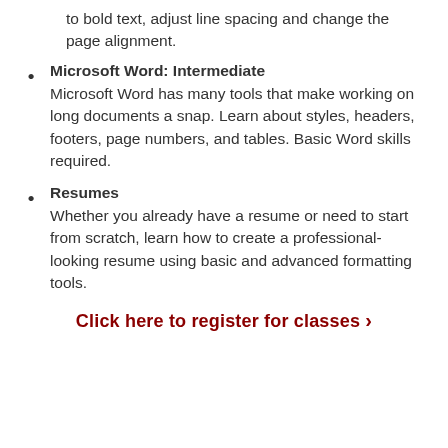to bold text, adjust line spacing and change the page alignment.
Microsoft Word: Intermediate — Microsoft Word has many tools that make working on long documents a snap. Learn about styles, headers, footers, page numbers, and tables. Basic Word skills required.
Resumes — Whether you already have a resume or need to start from scratch, learn how to create a professional-looking resume using basic and advanced formatting tools.
Click here to register for classes ›